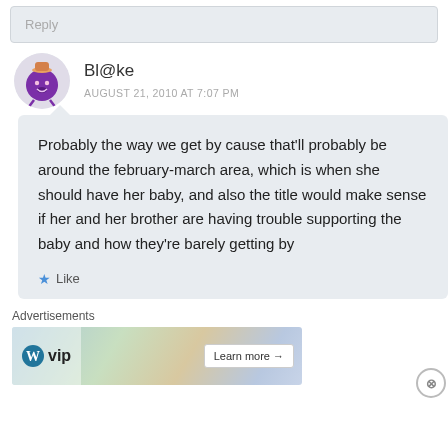Reply
Bl@ke
AUGUST 21, 2010 AT 7:07 PM
Probably the way we get by cause that’ll probably be around the february-march area, which is when she should have her baby, and also the title would make sense if her and her brother are having trouble supporting the baby and how they’re barely getting by
Like
Advertisements
[Figure (other): WordPress VIP advertisement banner with map/social media background and Learn more button]